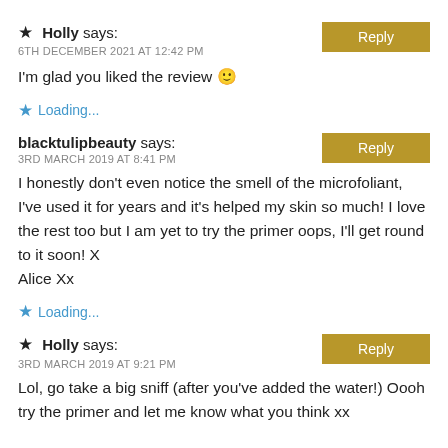★ Holly says:
6TH DECEMBER 2021 AT 12:42 PM
Reply
I'm glad you liked the review 🙂
★ Loading...
blacktulipbeauty says:
3RD MARCH 2019 AT 8:41 PM
Reply
I honestly don't even notice the smell of the microfoliant, I've used it for years and it's helped my skin so much! I love the rest too but I am yet to try the primer oops, I'll get round to it soon! X
Alice Xx
★ Loading...
★ Holly says:
3RD MARCH 2019 AT 9:21 PM
Reply
Lol, go take a big sniff (after you've added the water!) Oooh try the primer and let me know what you think xx